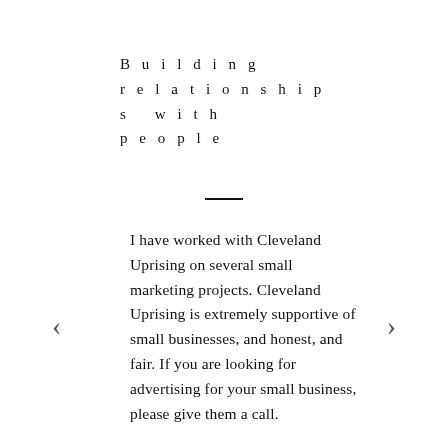Building relationships with people
I have worked with Cleveland Uprising on several small marketing projects. Cleveland Uprising is extremely supportive of small businesses, and honest, and fair. If you are looking for advertising for your small business, please give them a call.